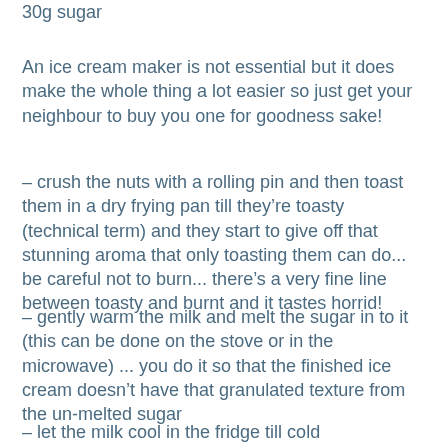30g sugar
An ice cream maker is not essential but it does make the whole thing a lot easier so just get your neighbour to buy you one for goodness sake!
– crush the nuts with a rolling pin and then toast them in a dry frying pan till they're toasty (technical term) and they start to give off that stunning aroma that only toasting them can do... be careful not to burn... there's a very fine line between toasty and burnt and it tastes horrid!
– gently warm the milk and melt the sugar in to it (this can be done on the stove or in the microwave) ... you do it so that the finished ice cream doesn't have that granulated texture from the un-melted sugar
– let the milk cool in the fridge till cold